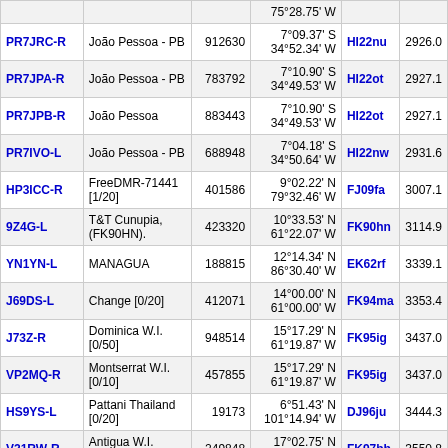| Callsign | Location | Node | Coordinates | Grid | Dist |
| --- | --- | --- | --- | --- | --- |
|  |  |  | 75°28.75' W |  |  |
| PR7JRC-R | João Pessoa - PB | 912630 | 7°09.37' S 34°52.34' W | HI22nu | 2926.0 |
| PR7JPA-R | João Pessoa - PB | 783792 | 7°10.90' S 34°49.53' W | HI22ot | 2927.1 |
| PR7JPB-R | João Pessoa | 883443 | 7°10.90' S 34°49.53' W | HI22ot | 2927.1 |
| PR7IVO-L | João Pessoa - PB | 688948 | 7°04.18' S 34°50.64' W | HI22nw | 2931.6 |
| HP3ICC-R | FreeDMR-71441 [1/20] | 401586 | 9°02.22' N 79°32.46' W | FJ09fa | 3007.1 |
| 9Z4G-L | T&T Cunupia, (FK90HN). | 423320 | 10°33.53' N 61°22.07' W | FK90hn | 3114.9 |
| YN1YN-L | MANAGUA | 188815 | 12°14.34' N 86°30.40' W | EK62rf | 3339.1 |
| J69DS-L | Change [0/20] | 412071 | 14°00.00' N 61°00.00' W | FK94ma | 3353.4 |
| J73Z-R | Dominica W.I. [0/50] | 948514 | 15°17.29' N 61°19.87' W | FK95ig | 3437.0 |
| VP2MQ-R | Montserrat W.I. [0/10] | 457855 | 15°17.29' N 61°19.87' W | FK95ig | 3437.0 |
| HS9YS-L | Pattani Thailand [0/20] | 19173 | 6°51.43' N 101°14.94' W | DJ96ju | 3444.3 |
| V21RW-R | Antigua W.I. [0/20] | 249848 | 17°02.75' N 61°51.67' W | FK97bb | 3550.8 |
| V44KM-L | St. Kitts [0/20] | 949562 | 17°17.84' N 62°45.94' W | FK87oh | 3559.0 |